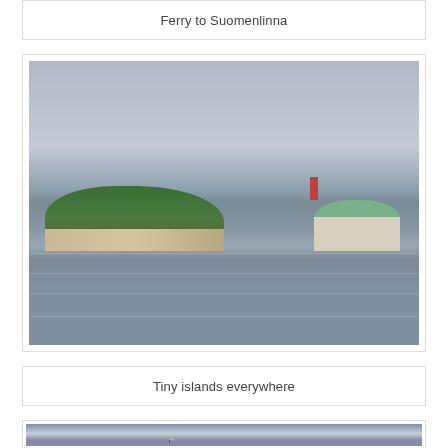Ferry to Suomenlinna
[Figure (photo): Panoramic photo taken from a ferry showing a small wooded island with a green-domed building, red spire, and waterfront structures under an overcast grey sky, with calm water in the foreground.]
Tiny islands everywhere
[Figure (photo): Partially visible photo showing a dramatic overcast purple-grey sky over water with a small flag or pole visible near the bottom center.]